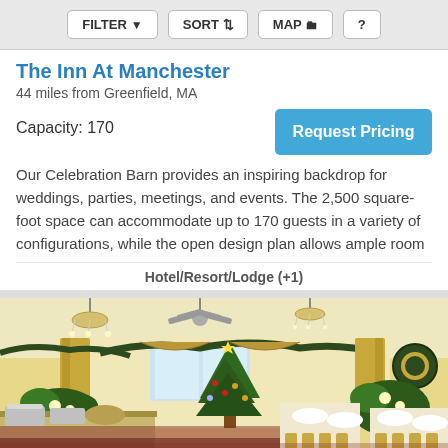FILTER  SORT  MAP  ?
The Inn At Manchester
44 miles from Greenfield, MA
Capacity: 170
Our Celebration Barn provides an inspiring backdrop for weddings, parties, meetings, and events. The 2,500 square-foot space can accommodate up to 170 guests in a variety of configurations, while the open design plan allows ample room
Hotel/Resort/Lodge (+1)
[Figure (photo): Interior of a banquet hall decorated for Christmas with a Christmas tree, garland, chandeliers, ceiling fan, tables set for dining, and holiday wreaths on the walls.]